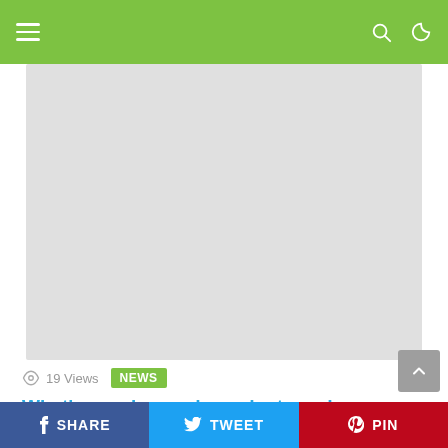Navigation header with hamburger menu, search and dark mode icons
[Figure (other): Gray placeholder advertisement block]
19 Views  NEWS
What's new in weed: products and news from Kiva Confections and more
[Figure (other): Gray placeholder advertisement block]
SHARE  TWEET  PIN